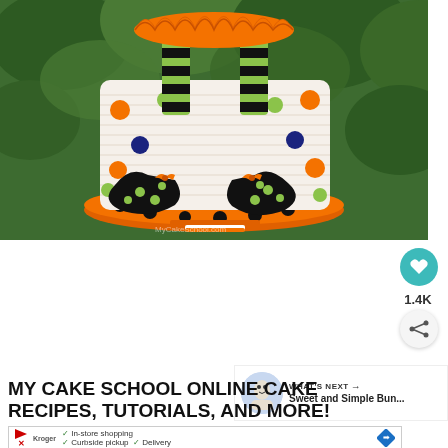[Figure (photo): A decorated Halloween cake shaped like witch legs sticking up, with black and green striped stockings, orange and black polka-dot witch shoes with orange bows, on an orange polka-dot cake board. Cake has orange ruffle top and white ribbed fondant sides with orange and dark blue polka dots. Set outdoors against green hedges.]
1.4K
WHAT'S NEXT → Sweet and Simple Bun...
MY CAKE SCHOOL ONLINE CAKE RECIPES, TUTORIALS, AND MORE!
In-store shopping
Curbside pickup ✓ Delivery